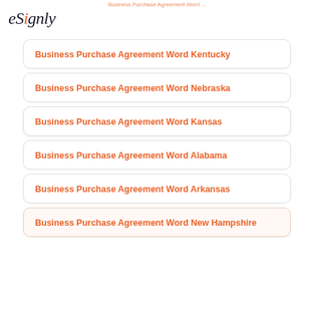eSignly
Business Purchase Agreement Word ...
Business Purchase Agreement Word Kentucky
Business Purchase Agreement Word Nebraska
Business Purchase Agreement Word Kansas
Business Purchase Agreement Word Alabama
Business Purchase Agreement Word Arkansas
Business Purchase Agreement Word New Hampshire